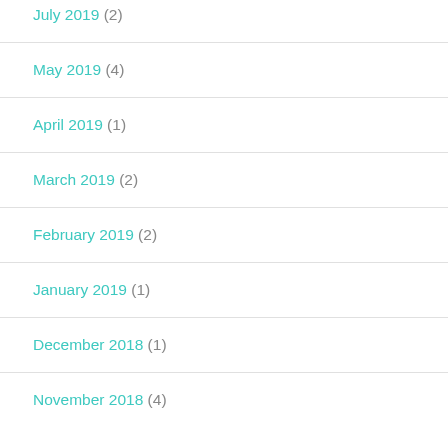July 2019 (2)
May 2019 (4)
April 2019 (1)
March 2019 (2)
February 2019 (2)
January 2019 (1)
December 2018 (1)
November 2018 (4)